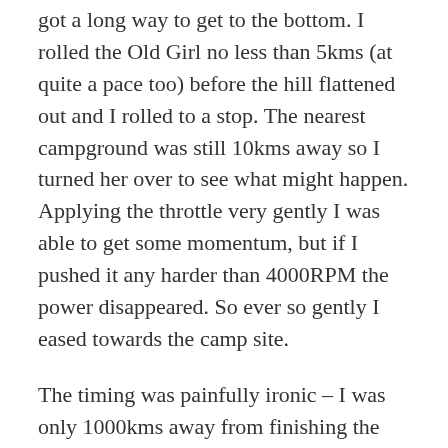got a long way to get to the bottom. I rolled the Old Girl no less than 5kms (at quite a pace too) before the hill flattened out and I rolled to a stop. The nearest campground was still 10kms away so I turned her over to see what might happen. Applying the throttle very gently I was able to get some momentum, but if I pushed it any harder than 4000RPM the power disappeared. So ever so gently I eased towards the camp site.
The timing was painfully ironic – I was only 1000kms away from finishing the journey for good, and yet here I was stuck in the middle of Switzerland with a bike that couldn't ride any faster than an electric wheelchair. Suspecting the clutch to be the cause of my woes, I posted on the Advrider forum to see what others more knowledgable than me thought of the situation. The night's campsite set me back $45AUD so I wasn't really enthusiastic about getting the bike repaired in Switzerland; the clutch after all is one of the most time consuming jobs on a BMW, locally it's quoted to t...